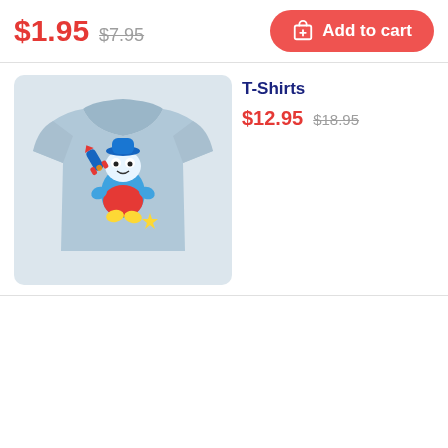$1.95  $7.95
Add to cart
[Figure (photo): A light blue t-shirt with a cartoon character (frog-like creature with blue body, red outfit, yellow feet) holding items, with a rocket and a star, displayed on a light gray background.]
T-Shirts
$12.95  $18.95